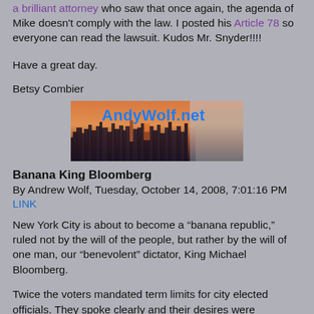a brilliant attorney who saw that once again, the agenda of Mike doesn't comply with the law. I posted his Article 78 so everyone can read the lawsuit. Kudos Mr. Snyder!!!!
Have a great day.
Betsy Combier
[Figure (photo): AndyWolf.net banner image showing NYC skyline at sunset/dusk with a man in glasses on the right side]
Banana King Bloomberg
By Andrew Wolf, Tuesday, October 14, 2008, 7:01:16 PM
LINK
New York City is about to become a “banana republic,” ruled not by the will of the people, but rather by the will of one man, our “benevolent” dictator, King Michael Bloomberg.
Twice the voters mandated term limits for city elected officials. They spoke clearly and their desires were respected. As a result, some very fine public officials were